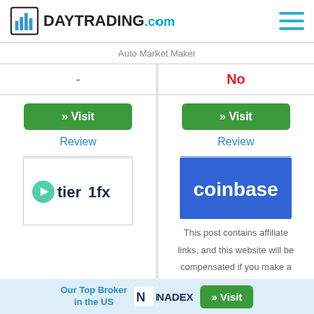DAYTRADING.com
| Auto Market Maker | Auto Market Maker |
| --- | --- |
| - | No |
| » Visit / Review / [tierifx logo] | » Visit / Review / [coinbase logo] |
This post contains affiliate links, and this website will be compensated if you make a
Our Top Broker in the US  NADEX  » Visit